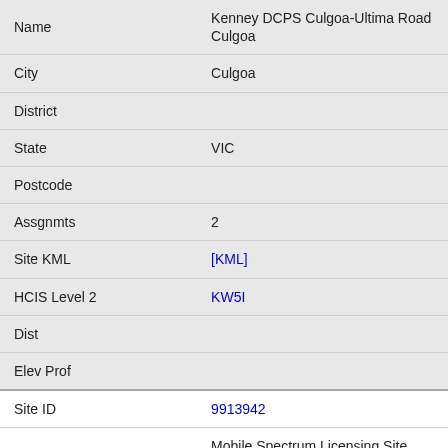| Field | Value |
| --- | --- |
| Name | Kenney DCPS Culgoa-Ultima Road Culgoa |
| City | Culgoa |
| District |  |
| State | VIC |
| Postcode |  |
| Assgnmts | 2 |
| Site KML | [KML] |
| HCIS Level 2 | KW5I |
| Dist |  |
| Elev Prof |  |
| Site ID | 9913942 |
| Name | Mobile Spectrum Licensing Site CALDER HIGHWAY |
| City | CALDER HIGHWAY |
| District |  |
| State | VIC |
| Postcode | 3530 |
| Assgnmts |  |